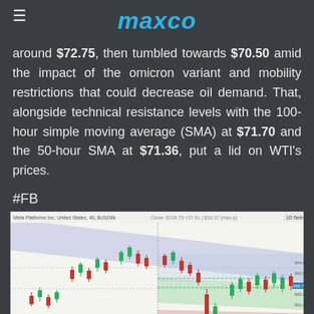maxco
around $72.75, then tumbled towards $70.50 amid the impact of the omicron variant and mobility restrictions that could decrease oil demand. That, alongside technical resistance levels with the 100-hour simple moving average (SMA) at $71.70 and the 50-hour SMA at $71.36, put a lid on WTI's prices.
#FB
[Figure (screenshot): Stock chart (Meta Platforms / FB) showing candlestick price action with colored channel bands (blue descending channel, green and red support/resistance areas) on a 40-minute timeframe.]